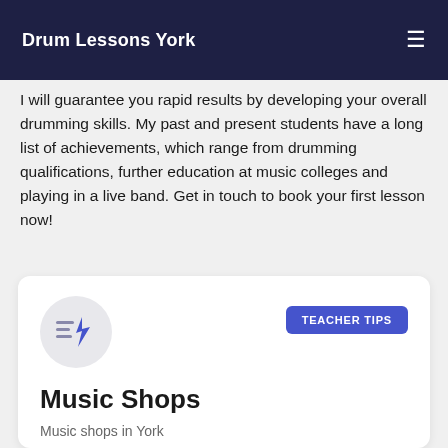Drum Lessons York
I will guarantee you rapid results by developing your overall drumming skills. My past and present students have a long list of achievements, which range from drumming qualifications, further education at music colleges and playing in a live band. Get in touch to book your first lesson now!
[Figure (other): Card with a circular icon containing lines and lightning bolt symbol, a TEACHER TIPS badge, a title 'Music Shops', and subtitle 'Music shops in York']